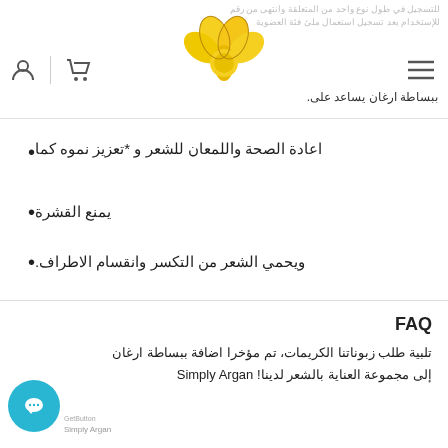Simply Argan website header with logo, cart, user, and menu icons
ببساطة ارغان يساعد على.
اعادة الصحة واللمعان للشعر و *تعزيز نموه كما
يمنع القشرة
ويحمي الشعر من التكسر وانقسام الاطراف.
FAQ
تلبية طلب زبوناتنا الكريمات، تم مؤخرا اضافة ببساطة ارغان إلى مجموعة العناية بالشعر لدينا! Simply Argan